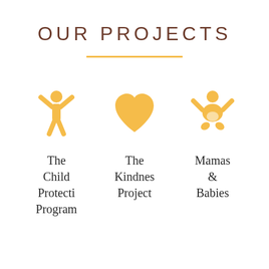OUR PROJECTS
[Figure (infographic): Three project icons in golden/amber color: a child figure with arms raised, a heart shape, and a baby figure. Below each icon are the project names: The Child Protection Program, The Kindness Project, Mamas & Babies.]
The Child Protection Program
The Kindness Project
Mamas & Babies